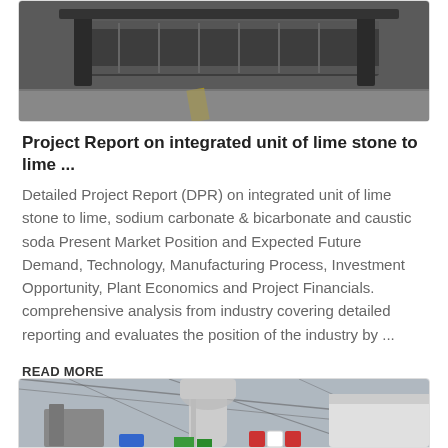[Figure (photo): Industrial metal conveyor or machine equipment photographed in a warehouse/factory setting, partially cropped at top of page]
Project Report on integrated unit of lime stone to lime ...
Detailed Project Report (DPR) on integrated unit of lime stone to lime, sodium carbonate & bicarbonate and caustic soda Present Market Position and Expected Future Demand, Technology, Manufacturing Process, Investment Opportunity, Plant Economics and Project Financials. comprehensive analysis from industry covering detailed reporting and evaluates the position of the industry by ...
READ MORE
[Figure (photo): Industrial chemical or mineral processing plant equipment with large pipes and machinery under a warehouse roof structure]